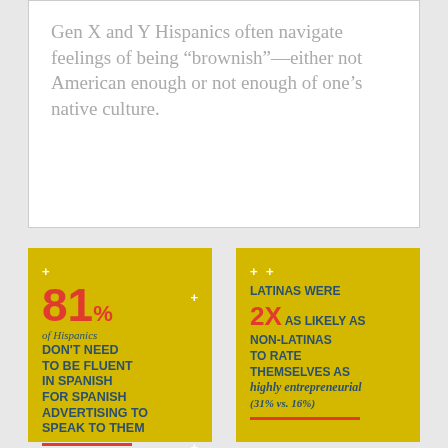Gen X and Y Hispanics often navigate feelings of being “brownish”—either not American enough or not enough of one’s native culture.
[Figure (infographic): Yellow infographic box stating: 81% of Hispanics DON'T NEED TO BE FLUENT IN SPANISH FOR SPANISH ADVERTISING TO SPEAK TO THEM]
[Figure (infographic): Yellow infographic box stating: LATINAS WERE 2X AS LIKELY AS NON-LATINAS TO RATE THEMSELVES AS highly entrepreneurial (31% vs. 16%)]
[Figure (photo): Photo of a person wearing a black headband and glasses, with green foliage in the background]